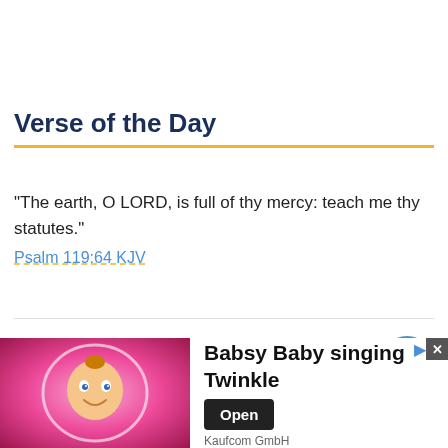Verse of the Day
“The earth, O LORD, is full of thy mercy: teach me thy statutes.”
Psalm 119:64 KJV
[Figure (illustration): Scroll-up chevron button, blue circle with white upward chevron arrow]
[Figure (illustration): Babsy Baby animated character on pink background with heart glow]
Babsy Baby singing Twinkle
Kaufcom GmbH